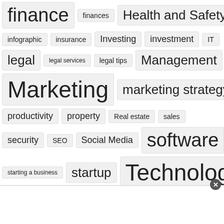[Figure (infographic): Tag cloud showing various business/finance related tags in varying font sizes indicating popularity/frequency. Tags include: finance, finances, Health and Safety (partially visible at top), infographic, insurance, Investing, investment, IT, legal, legal services, legal tips, Management, Marketing, marketing strategy, productivity, property, Real estate, sales, security, SEO, Social Media, software, starting a business, startup, Technology, Trading, Training, website, workplace. A close button (X) appears at the bottom right corner, with a white bar at the bottom.]